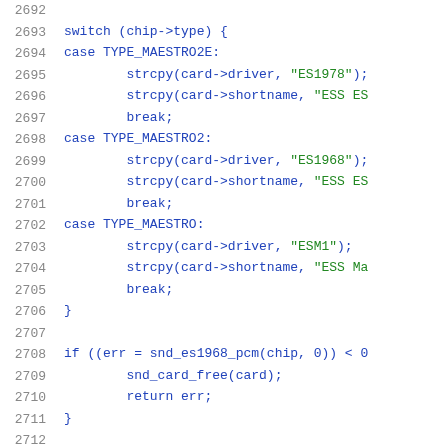[Figure (screenshot): Source code listing in C showing lines 2692-2712 with switch statement handling chip types TYPE_MAESTRO2E, TYPE_MAESTRO2, TYPE_MAESTRO, and an if statement for snd_es1968_pcm function call.]